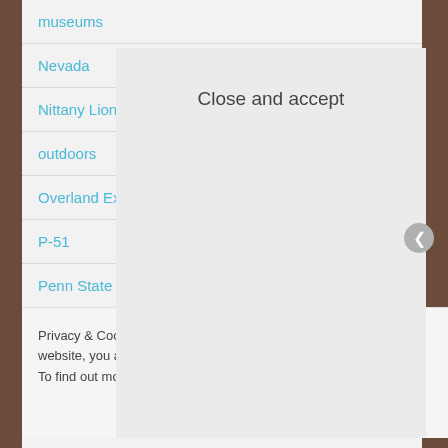museums
Nevada
Nittany Lion Inn
outdoors
Overland Expo
P-51
Penn State
Privacy & Cookies: This site uses cookies. By cont website, you agree to their use.
To find out more, including how to control cookie
Close and accept